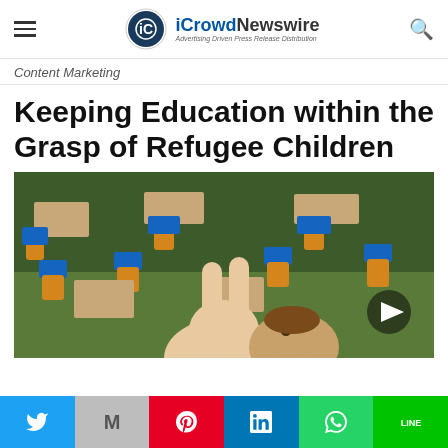iCrowdNewswire — Advertising Driven Press Release Distribution
Content Marketing
Keeping Education within the Grasp of Refugee Children
[Figure (photo): A child making a peace sign in a classroom with blue and orange chairs]
Social sharing bar: Twitter, Gmail, Pinterest, LinkedIn, WhatsApp, Line